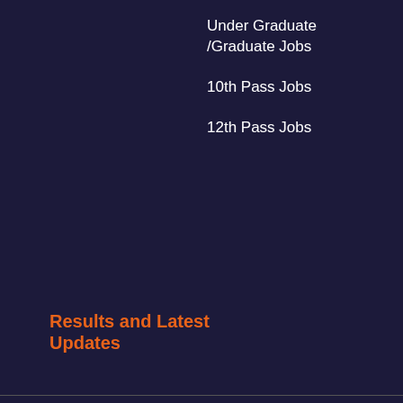Under Graduate /Graduate Jobs
10th Pass Jobs
12th Pass Jobs
Results and Latest Updates
Sarkari Result
Sarkari Job
Job Alert
Admit Card
States and Capitals Of INDIA